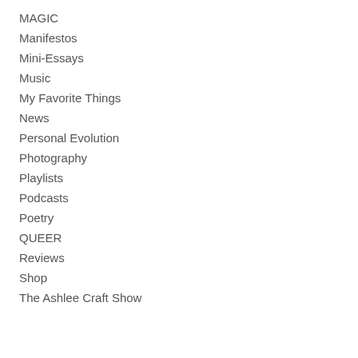MAGIC
Manifestos
Mini-Essays
Music
My Favorite Things
News
Personal Evolution
Photography
Playlists
Podcasts
Poetry
QUEER
Reviews
Shop
The Ashlee Craft Show